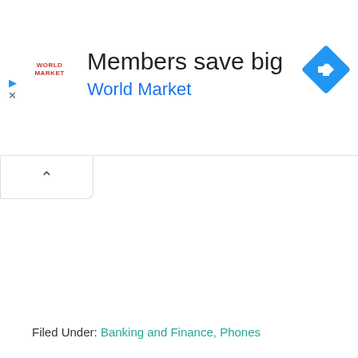[Figure (infographic): Advertisement banner for World Market. Contains World Market logo in red text on left, large headline 'Members save big' in dark text, subheading 'World Market' in blue, and a blue diamond-shaped navigation arrow icon on the right. Small play and close icons on far left.]
[Figure (other): Collapse/minimize tab UI element with an upward-pointing chevron (^) on a white rounded rectangular tab below the ad banner.]
Filed Under: Banking and Finance, Phones